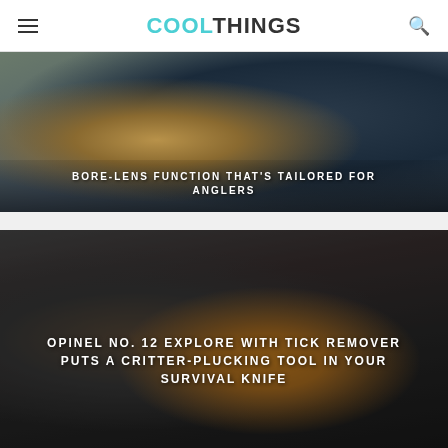COOLTHINGS
[Figure (photo): Person holding a fish with a device in the other hand, set against ocean background. Text overlay reads: BORE-LENS FUNCTION THAT'S TAILORED FOR ANGLERS]
BORE-LENS FUNCTION THAT'S TAILORED FOR ANGLERS
[Figure (photo): Person in dark jacket holding an Opinel knife with orange tick remover and orange rope. Dark background.]
OPINEL NO. 12 EXPLORE WITH TICK REMOVER PUTS A CRITTER-PLUCKING TOOL IN YOUR SURVIVAL KNIFE